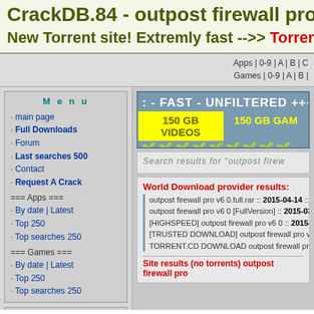CrackDB.84 - outpost firewall pro v6 0 outpo
New Torrent site! Extremly fast -->> Torrent
Apps | 0-9 | A | B | C   Games | 0-9 | A | B |
Menu
· main page
· Full Downloads
· Forum
· Last searches 500
· Contact
· Request A Crack
=== Apps ===
· By date | Latest
· Top 250
· Top searches 250
=== Games ===
· By date | Latest
· Top 250
· Top searches 250
Database
Total cracks: 173130
[Figure (screenshot): Ad banner: FAST - UNFILTERED +++ SAFE - FA... with 150 GB VIDEOS and 150 GB GAME buttons on yellow/blue background]
Search results for "outpost firew
World Download provider results:
outpost firewall pro v6 0.full.rar :: 2015-04-14 :: Spe
outpost firewall pro v6 0 [FullVersion] :: 2015-03-10
[HIGHSPEED] outpost firewall pro v6 0 :: 2015-04-13
[TRUSTED DOWNLOAD] outpost firewall pro v6 0 :: 2...
TORRENT.CD DOWNLOAD outpost firewall pro v6 0 ::
Site results (no torrents) outpost firewall pro